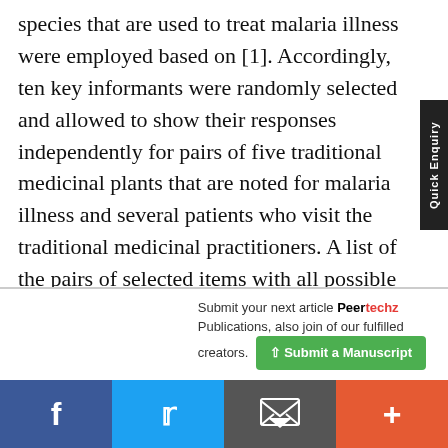species that are used to treat malaria illness were employed based on [1]. Accordingly, ten key informants were randomly selected and allowed to show their responses independently for pairs of five traditional medicinal plants that are noted for malaria illness and several patients who visit the traditional medicinal practitioners. A list of the pairs of selected items with all possible combinations was made and the
Submit your next article Peertechz Publications, also join of our fulfilled creators. Submit a Manuscript